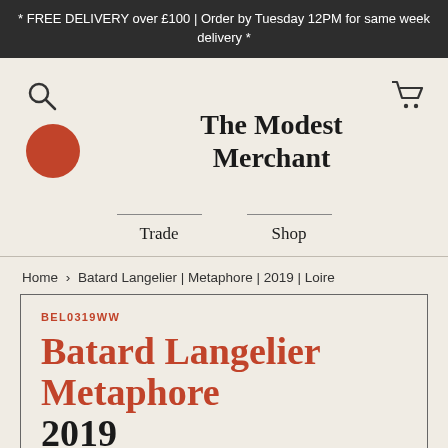* FREE DELIVERY over £100 | Order by Tuesday 12PM for same week delivery *
[Figure (logo): Search icon (magnifying glass) in top left navigation area]
[Figure (logo): Shopping cart icon in top right navigation area]
[Figure (logo): Red circular logo mark on the left side of the navigation]
The Modest Merchant
Trade   Shop
Home › Batard Langelier | Metaphore | 2019 | Loire
BEL0319WW
Batard Langelier Metaphore 2019